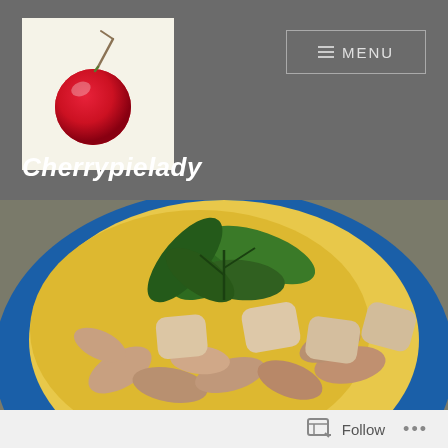[Figure (logo): Cherry logo image on light cream background in the top-left of the header]
Cherrypielady
[Figure (photo): Close-up food photograph of shrimp and gnocchi or scallops served on a blue plate with yellow polenta/grits, garnished with fresh basil leaves]
Follow ...